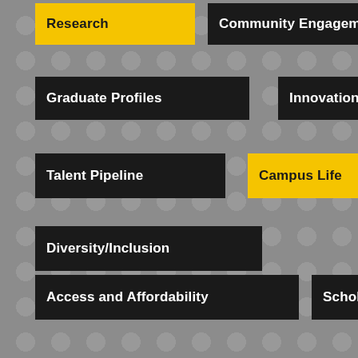[Figure (infographic): Navigation menu buttons on a grey dotted background. Buttons labeled: Research (gold), Community Engagement (dark), Graduate Profiles (dark), Innovation (dark), Talent Pipeline (dark), Campus Life (gold), Diversity/Inclusion (dark), Access and Affordability (dark), Scholarships (dark), Innovation Campus (dark), Athletics (dark), College of Applied Studies (gold), College of Health Professions (dark), and a partially visible dark button at the bottom.]